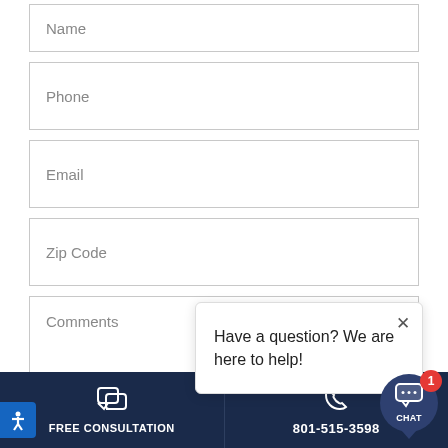Name
Phone
Email
Zip Code
Comments
[Figure (screenshot): Chat popup bubble with close X button and text: Have a question? We are here to help!]
It's ok to text me
FREE CONSULTATION
801-515-3598